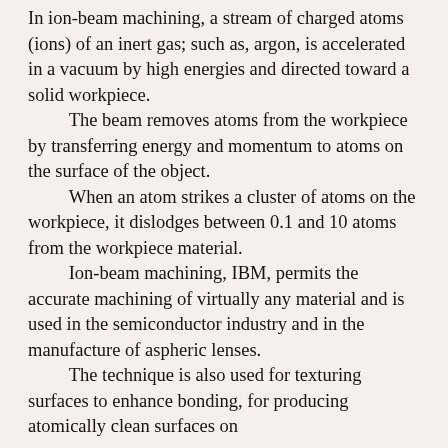In ion-beam machining, a stream of charged atoms (ions) of an inert gas; such as, argon, is accelerated in a vacuum by high energies and directed toward a solid workpiece.
	The beam removes atoms from the workpiece by transferring energy and momentum to atoms on the surface of the object.
	When an atom strikes a cluster of atoms on the workpiece, it dislodges between 0.1 and 10 atoms from the workpiece material.
	Ion-beam machining, IBM, permits the accurate machining of virtually any material and is used in the semiconductor industry and in the manufacture of aspheric lenses.
	The technique is also used for texturing surfaces to enhance bonding, for producing atomically clean surfaces on